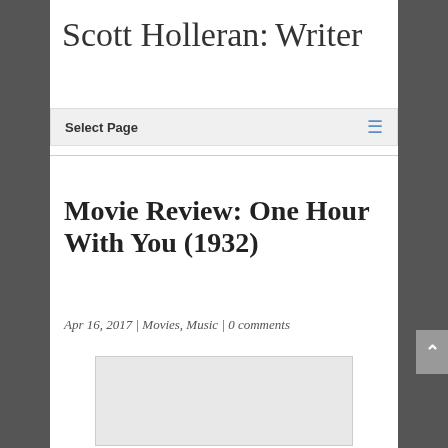Scott Holleran: Writer
Select Page
Movie Review: One Hour With You (1932)
Apr 16, 2017 | Movies, Music | 0 comments
[Figure (photo): Image placeholder / article image area, light gray rectangle]